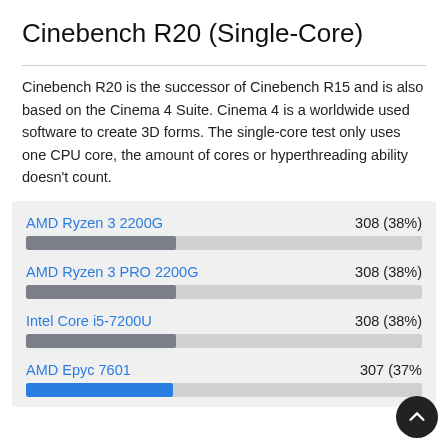Cinebench R20 (Single-Core)
Cinebench R20 is the successor of Cinebench R15 and is also based on the Cinema 4 Suite. Cinema 4 is a worldwide used software to create 3D forms. The single-core test only uses one CPU core, the amount of cores or hyperthreading ability doesn't count.
[Figure (bar-chart): Cinebench R20 (Single-Core)]